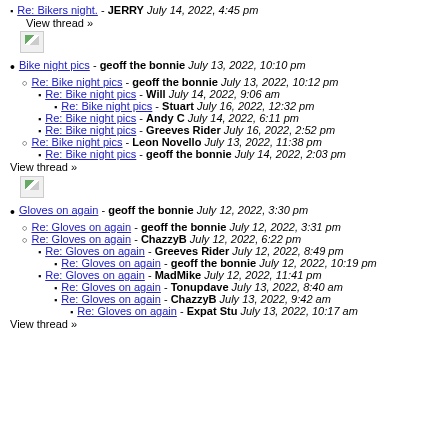Re: Bikers night. - JERRY July 14, 2022, 4:45 pm
View thread »
[Figure (other): Broken/placeholder image icon]
Bike night pics - geoff the bonnie July 13, 2022, 10:10 pm
Re: Bike night pics - geoff the bonnie July 13, 2022, 10:12 pm
Re: Bike night pics - Will July 14, 2022, 9:06 am
Re: Bike night pics - Stuart July 16, 2022, 12:32 pm
Re: Bike night pics - Andy C July 14, 2022, 6:11 pm
Re: Bike night pics - Greeves Rider July 16, 2022, 2:52 pm
Re: Bike night pics - Leon Novello July 13, 2022, 11:38 pm
Re: Bike night pics - geoff the bonnie July 14, 2022, 2:03 pm
View thread »
[Figure (other): Broken/placeholder image icon]
Gloves on again - geoff the bonnie July 12, 2022, 3:30 pm
Re: Gloves on again - geoff the bonnie July 12, 2022, 3:31 pm
Re: Gloves on again - ChazzyB July 12, 2022, 6:22 pm
Re: Gloves on again - Greeves Rider July 12, 2022, 8:49 pm
Re: Gloves on again - geoff the bonnie July 12, 2022, 10:19 pm
Re: Gloves on again - MadMike July 12, 2022, 11:41 pm
Re: Gloves on again - Tonupdave July 13, 2022, 8:40 am
Re: Gloves on again - ChazzyB July 13, 2022, 9:42 am
Re: Gloves on again - Expat Stu July 13, 2022, 10:17 am
View thread »